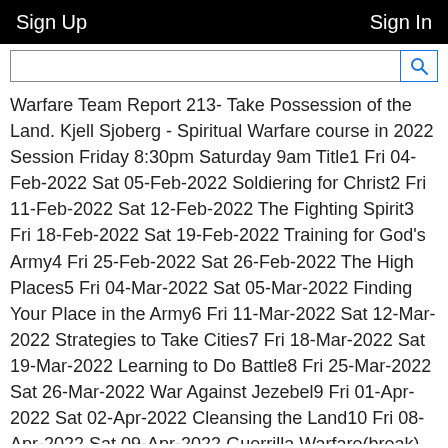Sign Up    Sign In
Warfare Team Report 213- Take Possession of the Land. Kjell Sjoberg - Spiritual Warfare course in 2022 Session Friday 8:30pm Saturday 9am Title1 Fri 04-Feb-2022 Sat 05-Feb-2022 Soldiering for Christ2 Fri 11-Feb-2022 Sat 12-Feb-2022 The Fighting Spirit3 Fri 18-Feb-2022 Sat 19-Feb-2022 Training for God's Army4 Fri 25-Feb-2022 Sat 26-Feb-2022 The High Places5 Fri 04-Mar-2022 Sat 05-Mar-2022 Finding Your Place in the Army6 Fri 11-Mar-2022 Sat 12-Mar-2022 Strategies to Take Cities7 Fri 18-Mar-2022 Sat 19-Mar-2022 Learning to Do Battle8 Fri 25-Mar-2022 Sat 26-Mar-2022 War Against Jezebel9 Fri 01-Apr-2022 Sat 02-Apr-2022 Cleansing the Land10 Fri 08-Apr-2022 Sat 09-Apr-2022 Guerrilla Warfare(break) Fri 15-Apr-2022 Sat 16-Apr-2022 EASTER WEEKEND11 Fri 22-Apr-2022 Sat 23-Apr-2022 Elijah Anointing12 Fri 29-Apr-2022 Sat 30-Apr-2022 Expect Breakthroughs13 Fri 06-May-2022 Sat 07-May-